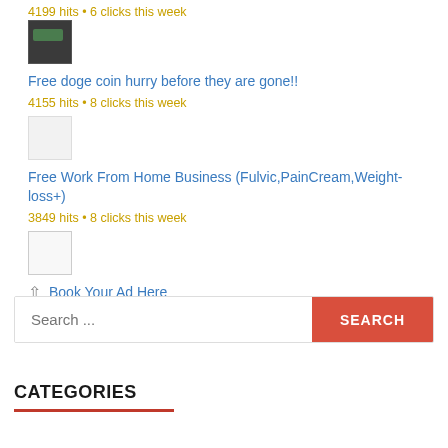4199 hits • 6 clicks this week
[Figure (photo): Small thumbnail image, dark background with green element]
Free doge coin hurry before they are gone!!
4155 hits • 8 clicks this week
[Figure (photo): Small light gray thumbnail image]
Free Work From Home Business (Fulvic,PainCream,Weight-loss+)
3849 hits • 8 clicks this week
[Figure (photo): Small thumbnail with product image]
Book Your Ad Here
Search ...
CATEGORIES